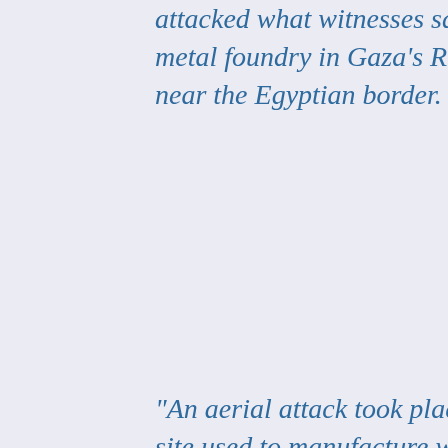attacked what witnesses said was a metal foundry in Gaza's Rafah, a town near the Egyptian border.

“An aerial attack took place against a site used to manufacture weapons in an area of the city of Rafah following the firing of a rocket into southern Israel in [Wednesday] evening,” an Israeli army spokesman told AFP.